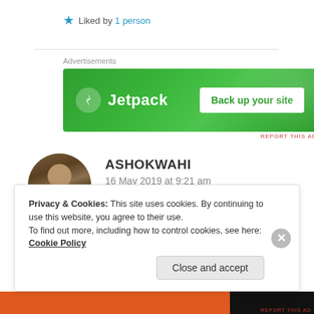★ Liked by 1 person
[Figure (other): Jetpack advertisement banner — green background with Jetpack logo and 'Back up your site' button]
ASHOKWAHI
16 May 2019 at 9:21 am
Privacy & Cookies: This site uses cookies. By continuing to use this website, you agree to their use.
To find out more, including how to control cookies, see here: Cookie Policy